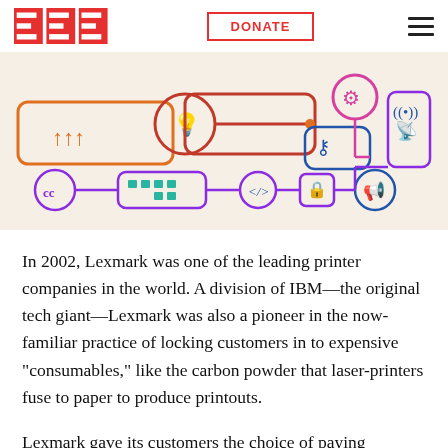EFF | DONATE
[Figure (illustration): EFF infographic illustration on beige/cream background showing interconnected digital rights icons: lightbulb, Creative Commons symbol, code brackets, lock, key, gear/settings, wifi antenna, megaphone, and circuit board pattern, connected by orange, red, purple, and pink lines.]
In 2002, Lexmark was one of the leading printer companies in the world. A division of IBM—the original tech giant—Lexmark was also a pioneer in the now-familiar practice of locking customers in to expensive "consumables," like the carbon powder that laser-printers fuse to paper to produce printouts.
Lexmark gave its customers the choice of paying